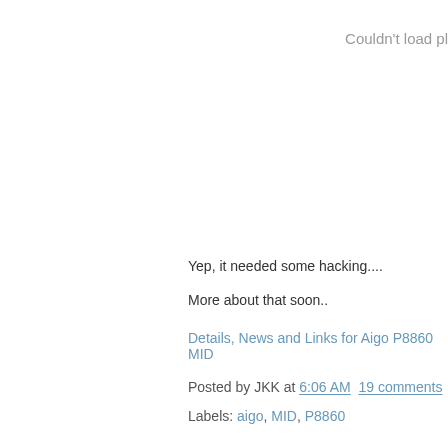Couldn't load pl
Yep, it needed some hacking....
More about that soon..
Details, News and Links for Aigo P8860 MID
Posted by JKK at 6:06 AM  19 comments
Labels: aigo, MID, P8860